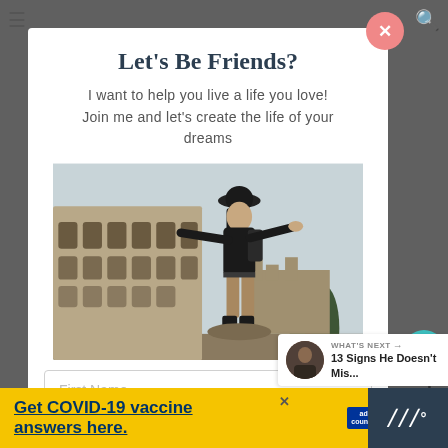Let's Be Friends?
I want to help you live a life you love! Join me and let's create the life of your dreams
[Figure (photo): Woman posing with arms outstretched in front of the Colosseum in Rome, Italy]
First Name
1
WHAT'S NEXT → 13 Signs He Doesn't Mis...
Get COVID-19 vaccine answers here.